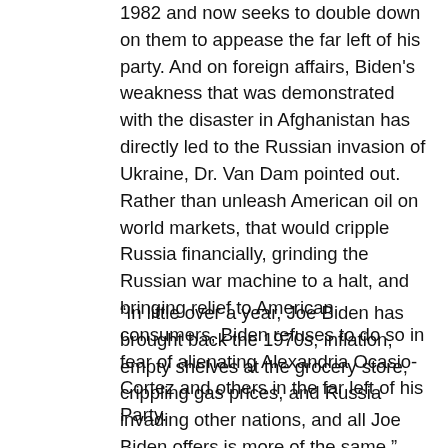1982 and now seeks to double down on them to appease the far left of his party. And on foreign affairs, Biden's weakness that was demonstrated with the disaster in Afghanistan has directly led to the Russian invasion of Ukraine, Dr. Van Dam pointed out. Rather than unleash American oil on world markets, that would cripple Russia financially, grinding the Russian war machine to a halt, and bringing relief to American consumers, Biden refuses to do so in fear of alienating Alexandria Ocasio-Cortez and others in the far left of his Party.
“In little over a year, Joe Biden has brought back the 1970s, inflation, empty shelves at the grocery store, crippling gas prices, and Russia invading other nations, and all Joe Biden offers is more of the same,” said Dr. Richard Van Dam. “Rather than cut back on government spending and encourage American entrepreneurism, Biden offers a continuation of the far left agenda that got us into this mess.